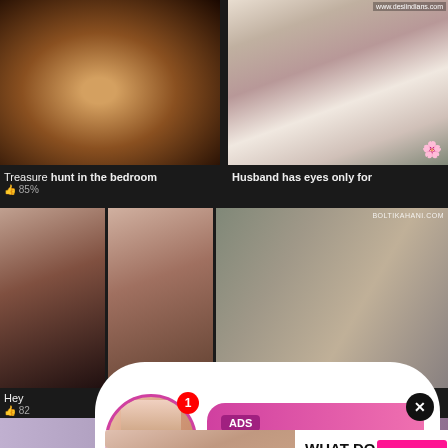[Figure (photo): Top-left video thumbnail, dark warm-toned close-up face]
[Figure (photo): Top-right video thumbnail, two people scene, watermark www.desiindians.com]
Treasure hunt in the bedroom
Husband has eyes only for
👍 85%
[Figure (photo): Notification popup: circular avatar with LIVE badge, pink ad bubble reading ADS, Jeniffer 2000, (00:12)🔔, close X button]
[Figure (photo): Mid-left small video thumbnail]
[Figure (photo): Mid video thumbnails and right large panel with watermark BOLTIKAHANI.COM]
Hey
👍 82
[Figure (screenshot): Ad popup: WHAT DO YOU WANT? / WATCH button / Online dot / three small thumbnails / Cumming, ass fucking, squirt or... / ADS / X close]
WHAT DO YOU WANT?
WATCH
Online
Cumming, ass fucking, squirt or...
• ADS